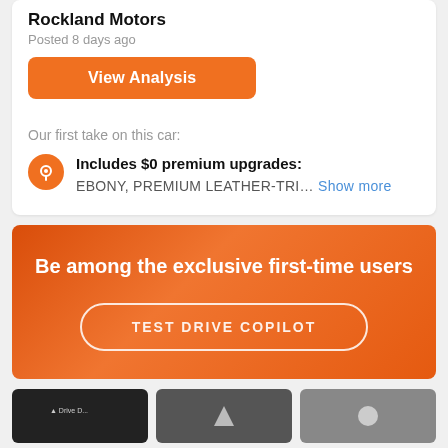Rockland Motors
Posted 8 days ago
View Analysis
Our first take on this car:
Includes $0 premium upgrades:
EBONY, PREMIUM LEATHER-TRI... Show more
Be among the exclusive first-time users
TEST DRIVE COPILOT
[Figure (screenshot): App store download buttons row at bottom]